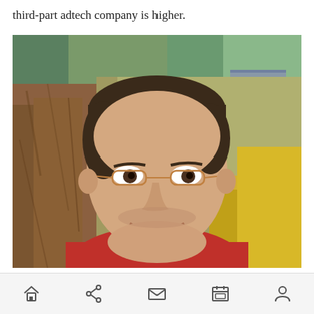third-part adtech company is higher.
[Figure (photo): Headshot of a smiling middle-aged man with glasses, in front of a tree with autumn yellow foliage in the background. He is wearing a red shirt.]
Navigation bar with home, share, mail, calendar, and person icons